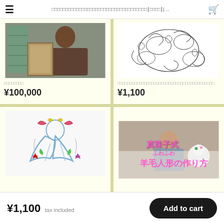≡  □□□□□□□□□□□□□□□□□□□□□□□□□□□□□□□□□□ □□□□ | ...  🛒
[Figure (photo): Photo of a person standing near shuttered window holding artwork]
□□□□□□□□
¥100,000
[Figure (illustration): Black and white line art illustration with floral/organic shapes]
□□□□□□□□□□□□□□□□□□□□□□□□□□□□□□□□□□□□□□□□
¥1,100
[Figure (illustration): Colored pencil drawing of anime-style character with ribbons and stars]
[Figure (photo): Video thumbnail showing person with felt dolls, text: 真珠子式 ふわふわ 羊毛人形の作り方]
¥1,100 tax included
Add to cart